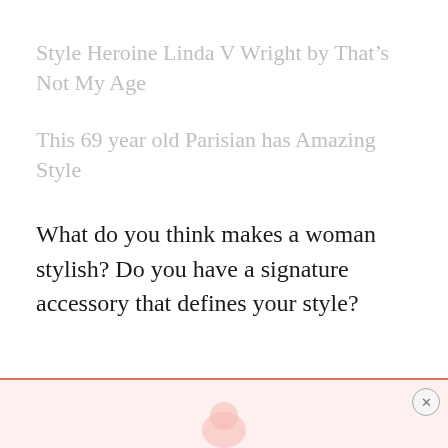Style Heroine Linda V Wright by That's Not My Age
This 69 year old Parisian has Amazing Style
What do you think makes a woman stylish? Do you have a signature accessory that defines your style?
[Figure (other): Advertisement banner at the bottom with a salmon/coral colored icon and a close button (x)]